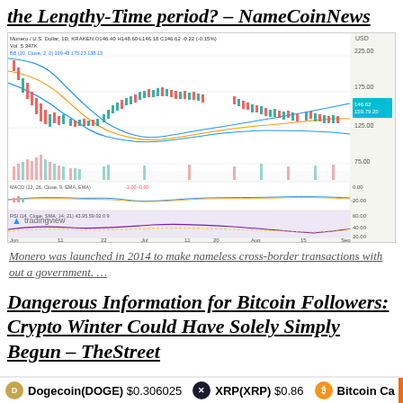the Lengthy-Time period? – NameCoinNews
[Figure (continuous-plot): TradingView candlestick chart of Monero/US Dollar (1D, KRAKEN) showing price from June to September, with Bollinger Bands, volume bars, MACD indicator, and RSI indicator. Price range approximately 75-225 USD.]
Monero was launched in 2014 to make nameless cross-border transactions with out a government. …
Dangerous Information for Bitcoin Followers: Crypto Winter Could Have Solely Simply Begun – TheStreet
Dogecoin(DOGE) $0.306025   XRP(XRP) $0.86   Bitcoin Ca